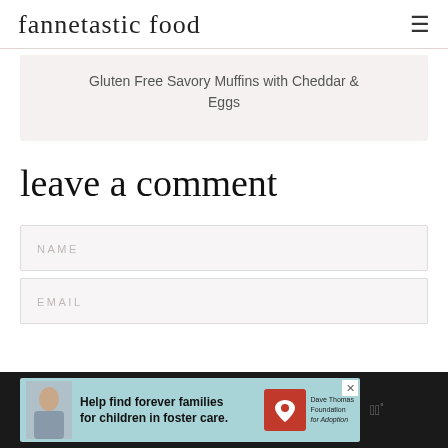fannetastic food
Gluten Free Savory Muffins with Cheddar & Eggs
leave a comment
NAME
EMAIL
[Figure (infographic): Advertisement banner: Dave Thomas Foundation for Adoption - Help find forever families for children in foster care.]